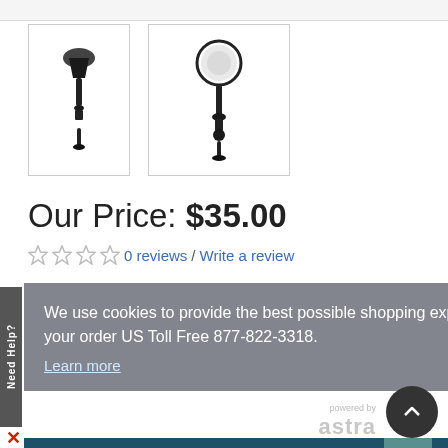[Figure (screenshot): E-commerce product page screenshot showing two wall sconce/candle holder thumbnails, price of $35.00, star rating with 0 reviews and Write a review link, a cookie consent overlay, Add to Cart button, Got it button, and How Much Is Shipping? link with Astra theme logo.]
Our Price: $35.00
0 reviews / Write a review
We use cookies to provide the best possible shopping experience. Don't want them? Call in your order US Toll Free 877-822-3318.
Learn more
Add to Cart
Got it!
How Much Is Shipping?
Need Help?
powered by astra